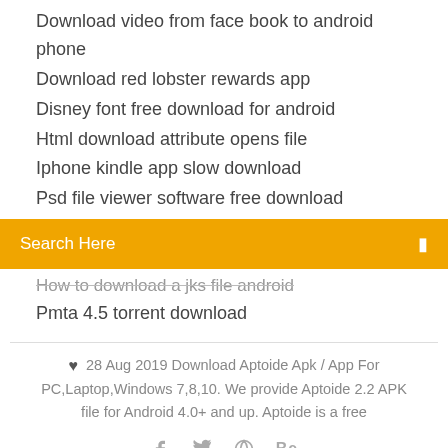Download video from face book to android phone
Download red lobster rewards app
Disney font free download for android
Html download attribute opens file
Iphone kindle app slow download
Psd file viewer software free download
Search Here
How to download a jks file android
Pmta 4.5 torrent download
28 Aug 2019 Download Aptoide Apk / App For PC,Laptop,Windows 7,8,10. We provide Aptoide 2.2 APK file for Android 4.0+ and up. Aptoide is a free